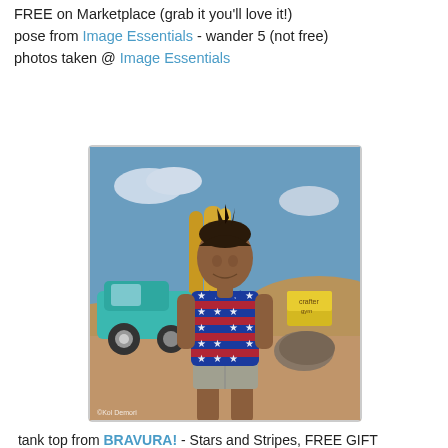FREE on Marketplace (grab it you'll love it!)
pose from Image Essentials - wander 5 (not free)
photos taken @ Image Essentials
[Figure (photo): A 3D avatar of a dark-skinned man wearing a blue, red and white stars-and-stripes tank top, standing on a beach scene with surfboards, a vintage teal car, and sandy dunes. Watermark: ©Kol Demori]
tank top from BRAVURA! - Stars and Stripes, FREE GIFT
pose from  Image Essentials - Subtle 3 (not free)